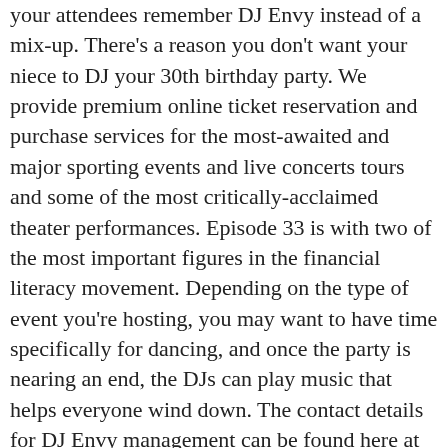your attendees remember DJ Envy instead of a mix-up. There's a reason you don't want your niece to DJ your 30th birthday party. We provide premium online ticket reservation and purchase services for the most-awaited and major sporting events and live concerts tours and some of the most critically-acclaimed theater performances. Episode 33 is with two of the most important figures in the financial literacy movement. Depending on the type of event you're hosting, you may want to have time specifically for dancing, and once the party is nearing an end, the DJs can play music that helps everyone wind down. The contact details for DJ Envy management can be found here at Booking Agent Info. DJ Envy contact information (name, email address, phone number). If you're wondering what to bring to a concert, we've got you covered. Have a contract that outlines date and exact hours of service, including what time they will arrive for setup and when they will be ready to perform. When you hire a DJ, explain clearly the styles of music you love, specific songs you're dying to hear, songs you absolutely do not want to hear, and the musical pacing of the event. For example, everything within a 25-mile radius is